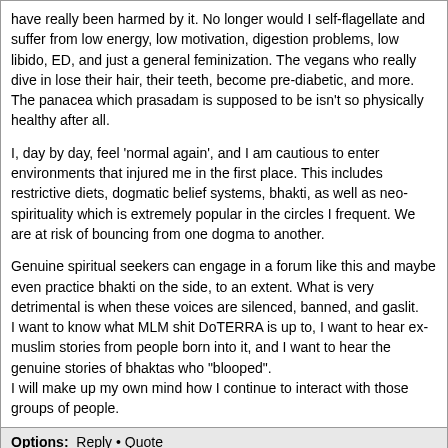have really been harmed by it. No longer would I self-flagellate and suffer from low energy, low motivation, digestion problems, low libido, ED, and just a general feminization. The vegans who really dive in lose their hair, their teeth, become pre-diabetic, and more. The panacea which prasadam is supposed to be isn't so physically healthy after all.

I, day by day, feel 'normal again', and I am cautious to enter environments that injured me in the first place. This includes restrictive diets, dogmatic belief systems, bhakti, as well as neo-spirituality which is extremely popular in the circles I frequent. We are at risk of bouncing from one dogma to another.

Genuine spiritual seekers can engage in a forum like this and maybe even practice bhakti on the side, to an extent. What is very detrimental is when these voices are silenced, banned, and gaslit.
I want to know what MLM shit DoTERRA is up to, I want to hear ex-muslim stories from people born into it, and I want to hear the genuine stories of bhaktas who "blooped".
I will make up my own mind how I continue to interact with those groups of people.
Options:  Reply • Quote
Re: Chris Butler, Jagad Guru, Science of Identity
Posted by: Culthusiast ()
Date: February 04, 2022 03:35AM

And Our Chinese Lady of Hawaii with object of her love and admiration.

[www.facebook.com]

All glories to 25 kitchen servants...